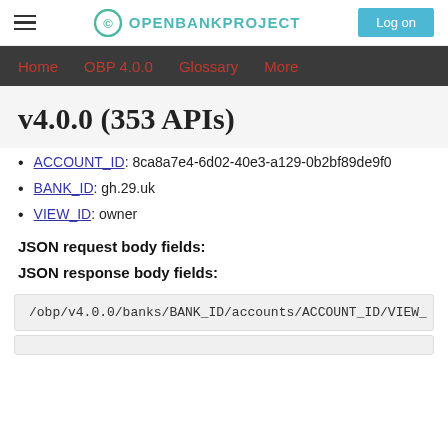OPENBANKPROJECT — Log on
Home | OBP 4.0.0 | Glossary | More
v4.0.0 (353 APIs)
ACCOUNT_ID: 8ca8a7e4-6d02-40e3-a129-0b2bf89de9f0
BANK_ID: gh.29.uk
VIEW_ID: owner
JSON request body fields:
JSON response body fields:
/obp/v4.0.0/banks/BANK_ID/accounts/ACCOUNT_ID/VIEW_